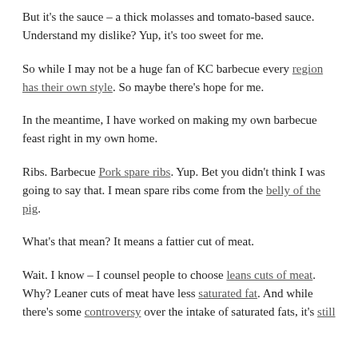But it's the sauce – a thick molasses and tomato-based sauce. Understand my dislike? Yup, it's too sweet for me.
So while I may not be a huge fan of KC barbecue every region has their own style. So maybe there's hope for me.
In the meantime, I have worked on making my own barbecue feast right in my own home.
Ribs. Barbecue Pork spare ribs. Yup. Bet you didn't think I was going to say that. I mean spare ribs come from the belly of the pig.
What's that mean? It means a fattier cut of meat.
Wait. I know – I counsel people to choose leans cuts of meat. Why? Leaner cuts of meat have less saturated fat. And while there's some controversy over the intake of saturated fats, it's still...